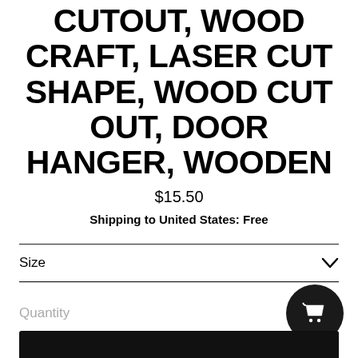CUTOUT, WOOD CRAFT, LASER CUT SHAPE, WOOD CUT OUT, DOOR HANGER, WOODEN
$15.50
Shipping to United States: Free
Size
Quantity